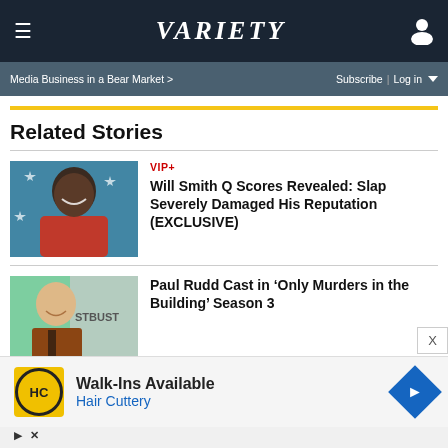VARIETY
Media Business in a Bear Market >
Subscribe | Log in
Related Stories
[Figure (photo): Will Smith smiling, wearing red jacket, with stars in background]
VIP+
Will Smith Q Scores Revealed: Slap Severely Damaged His Reputation (EXCLUSIVE)
[Figure (photo): Paul Rudd smiling, wearing brown suit, at event backdrop]
Paul Rudd Cast in ‘Only Murders in the Building’ Season 3
[Figure (other): Advertisement: Hair Cuttery Walk-Ins Available ad with HC logo and navigation arrow icon]